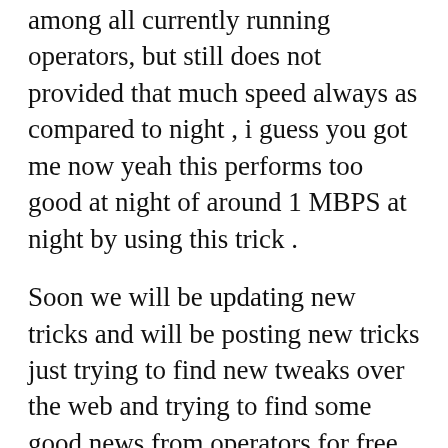among all currently running operators, but still does not provided that much speed always as compared to night , i guess you got me now yeah this performs too good at night of around 1 MBPS at night by using this trick .
Soon we will be updating new tricks and will be posting new tricks just trying to find new tweaks over the web and trying to find some good news from operators for free services as well.
Requirements
4G / 3G Enabled Sim card.